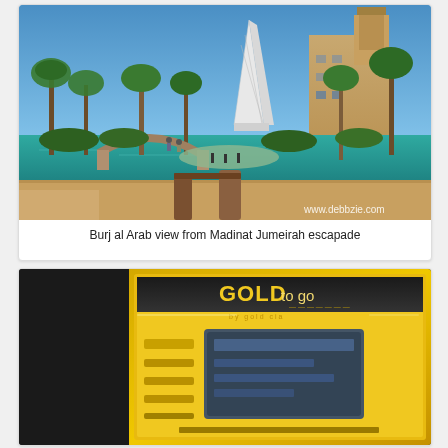[Figure (photo): Photograph of Burj al Arab hotel visible in background with palm trees, a small arched bridge over turquoise water, and sandy-colored Arabic architecture at Madinat Jumeirah. Foreground shows a wooden railing. Watermark reads www.debbzie.com]
Burj al Arab view from Madinat Jumeirah escapade
[Figure (photo): Photograph of a gold-colored vending machine with 'GOLD to go' branding and a screen interface, partially cropped.]